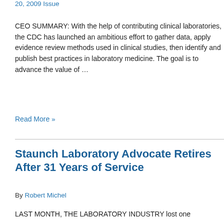20, 2009 Issue
CEO SUMMARY: With the help of contributing clinical laboratories, the CDC has launched an ambitious effort to gather data, apply evidence review methods used in clinical studies, then identify and publish best practices in laboratory medicine. The goal is to advance the value of ...
Read More »
Staunch Laboratory Advocate Retires After 31 Years of Service
By Robert Michel
LAST MONTH, THE LABORATORY INDUSTRY lost one